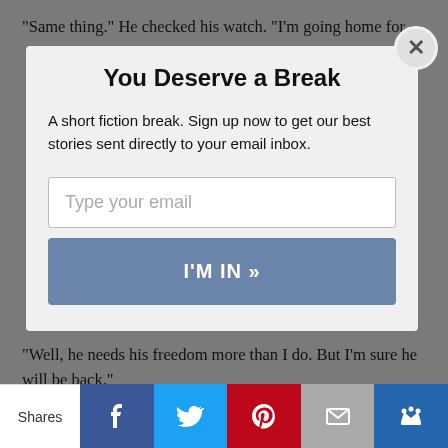“Same thing.” He checked his watch. “I’m going home for…
[Figure (screenshot): Modal popup with title 'You Deserve a Break', body text, email input field, and 'I'M IN »' button]
“Well, he needs his freedom more than I do. But I’m sure he will be back.”
“I’m going out to sharpen my sword now.”
[Figure (screenshot): Social share bar with Shares, Facebook, Twitter, Pinterest, Mail, and crown/king icon buttons]